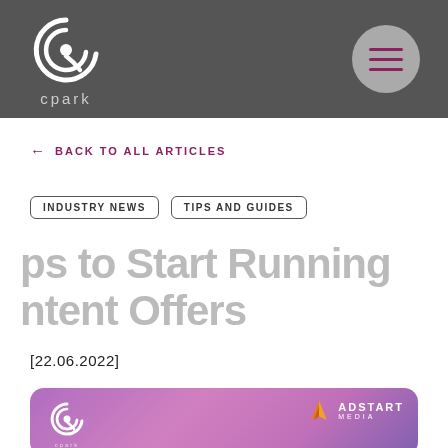[Figure (logo): Cpark logo: circular swirl icon in white on dark grey background with 'cpark' text below, and a grey circular hamburger menu button on the right]
← BACK TO ALL ARTICLES
INDUSTRY NEWS   TIPS AND GUIDES
ps to Start Running Intent Offers
[22.06.2022]
[Figure (illustration): Purple/pink gradient card with cpark logo on the left and ADSTART MEDIA logo (orange flame icon) on the right]